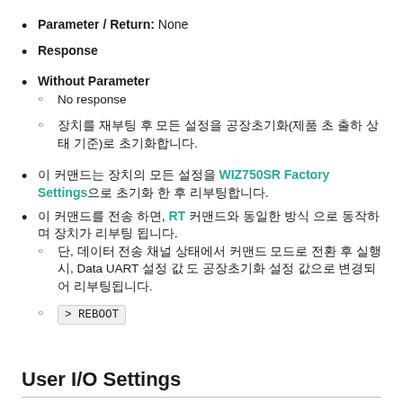Parameter / Return: None
Response
Without Parameter
No response
장치를 재부팅 후 모든 설정을 공장초기화(제품 초 출하 상태 기준)로 초기화합니다.
이 커맨드는 장치의 모든 설정을 WIZ750SR Factory Settings으로 초기화 한 후 리부팅합니다.
이 커맨드를 전송 하면, RT 커맨드와 동일한 방식 으로 동작하며 장치가 리부팅 됩니다.
단, 데이터 전송 채널 상태에서 커맨드 모드로 전환 후 실행 시, Data UART 설정 값 도 공장초기화 설정 값으로 변경되어 리부팅됩니다.
> REBOOT
User I/O Settings